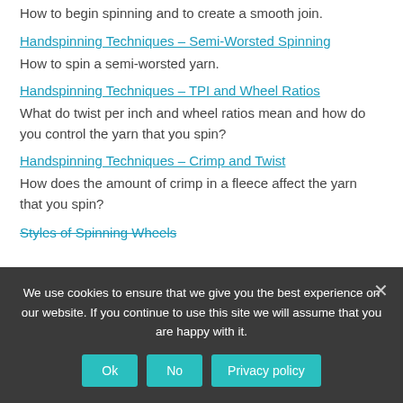How to begin spinning and to create a smooth join.
Handspinning Techniques – Semi-Worsted Spinning
How to spin a semi-worsted yarn.
Handspinning Techniques – TPI and Wheel Ratios
What do twist per inch and wheel ratios mean and how do you control the yarn that you spin?
Handspinning Techniques – Crimp and Twist
How does the amount of crimp in a fleece affect the yarn that you spin?
Styles of Spinning Wheels
We use cookies to ensure that we give you the best experience on our website. If you continue to use this site we will assume that you are happy with it.